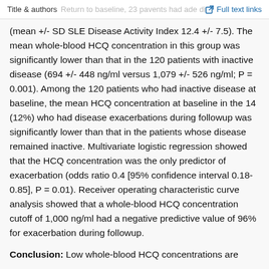Title & authors | [faded: Return to baseline, 23 patients had active disease] | Full text links
(mean +/- SD SLE Disease Activity Index 12.4 +/- 7.5). The mean whole-blood HCQ concentration in this group was significantly lower than that in the 120 patients with inactive disease (694 +/- 448 ng/ml versus 1,079 +/- 526 ng/ml; P = 0.001). Among the 120 patients who had inactive disease at baseline, the mean HCQ concentration at baseline in the 14 (12%) who had disease exacerbations during followup was significantly lower than that in the patients whose disease remained inactive. Multivariate logistic regression showed that the HCQ concentration was the only predictor of exacerbation (odds ratio 0.4 [95% confidence interval 0.18-0.85], P = 0.01). Receiver operating characteristic curve analysis showed that a whole-blood HCQ concentration cutoff of 1,000 ng/ml had a negative predictive value of 96% for exacerbation during followup.
Conclusion: Low whole-blood HCQ concentrations are